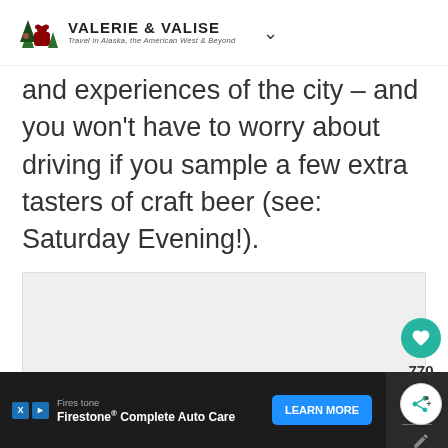VALERIE & VALISE — Travel in Alaska, the American West & Beyond
and experiences of the city – and you won't have to worry about driving if you sample a few extra tasters of craft beer (see: Saturday Evening!).
[Figure (photo): Light gray image placeholder rectangle]
Firestone — Firestone® Complete Auto Care — LEARN MORE